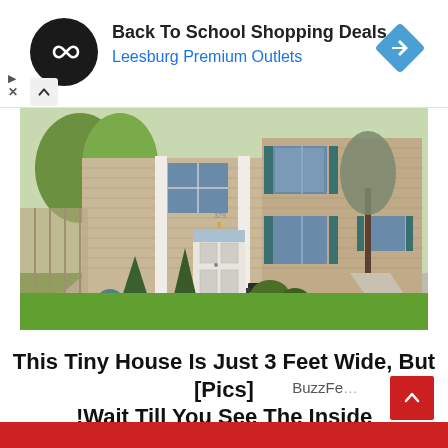[Figure (other): Advertisement banner: black circular logo with chain-link icon, text 'Back To School Shopping Deals' in bold black, 'Leesburg Premium Outlets' in blue, blue diamond navigation arrow icon on right]
[Figure (photo): Exterior photo of a two-story colonial-style house with beige/tan horizontal siding, white trim columns, teal shutters, front porch with white door, surrounded by evergreen shrubs, landscaping with mulch beds, sidewalk, and green lawn]
This Tiny House Is Just 3 Feet Wide, But [Pics] !Wait Till You See The Inside
BuzzFeed